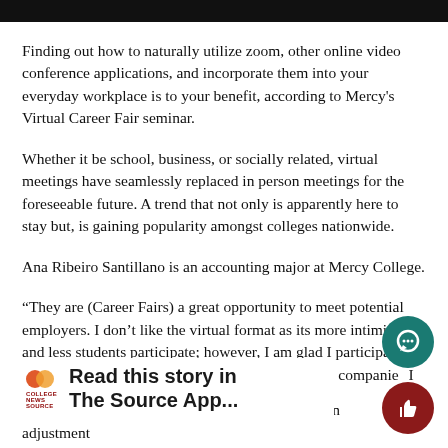Finding out how to naturally utilize zoom, other online video conference applications, and incorporate them into your everyday workplace is to your benefit, according to Mercy's Virtual Career Fair seminar.
Whether it be school, business, or socially related, virtual meetings have seamlessly replaced in person meetings for the foreseeable future. A trend that not only is apparently here to stay but, is gaining popularity amongst colleges nationwide.
Ana Ribeiro Santillano is an accounting major at Mercy College.
“They are (Career Fairs) a great opportunity to meet potential employers. I don’t like the virtual format as its more intimidating and less students participate; however, I am glad I participated because, I was invited to interview with one of the companies I met with.
The new setting for these fairs is most definitely an adjustment